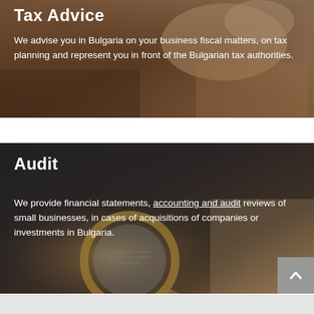[Figure (photo): Photo of hands writing with a pen on paper, warm tones. Shows 'Tax Advice' heading and description text overlaid.]
We advise you in Bulgaria on your business fiscal matters, on tax planning and represent you in front of the Bulgarian tax authorities.
[Figure (photo): Photo of a magnifying glass over financial documents with dark background. Shows 'Audit' heading and description text overlaid.]
Audit
We provide financial statements, accounting and audit reviews of small businesses, in cases of acquisitions of companies or investments in Bulgaria.